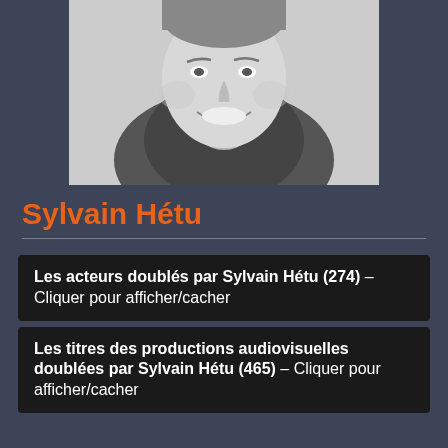[Figure (photo): Black and white headshot photo of Sylvain Hétu, smiling man]
Sylvain Hétu
Les acteurs doublés par Sylvain Hétu (274) – Cliquer pour afficher/cacher
Les titres des productions audiovisuelles doublées par Sylvain Hétu (465) – Cliquer pour afficher/cacher